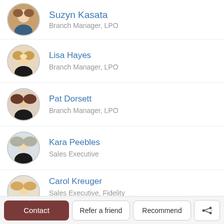Suzyn Kasata — Branch Manager, LPO
Lisa Hayes — Branch Manager, LPO
Pat Dorsett — Branch Manager, LPO
Kara Peebles — Sales Executive
Carol Kreuger — Sales Executive, Fidelity National Title
Deneen Person — Branch Manager, LPO
Contact | Refer a friend | Recommend | Share